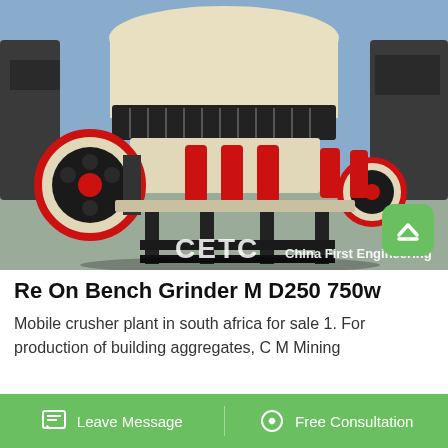[Figure (photo): Industrial cone crusher machine with cream/beige body, large red and black pulley wheels on sides, multiple red hydraulic cylinders, black spring assembly on top, mounted on black steel frame. CETC branding and 'China First Engineering' text visible at bottom of image.]
Re On Bench Grinder M D250 750w
Mobile crusher plant in south africa for sale 1. For production of building aggregates, C M Mining
Leave Message   Free Consultation